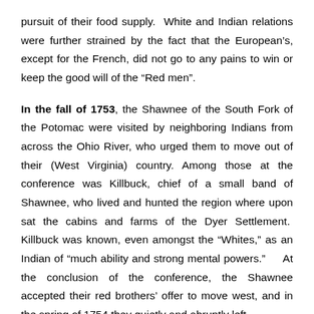pursuit of their food supply.  White and Indian relations were further strained by the fact that the European's, except for the French, did not go to any pains to win or keep the good will of the “Red men”.
In the fall of 1753, the Shawnee of the South Fork of the Potomac were visited by neighboring Indians from across the Ohio River, who urged them to move out of their (West Virginia) country. Among those at the conference was Killbuck, chief of a small band of Shawnee, who lived and hunted the region where upon sat the cabins and farms of the Dyer Settlement.  Killbuck was known, even amongst the “Whites,” as an Indian of “much ability and strong mental powers.”    At the conclusion of the conference, the Shawnee accepted their red brothers’ offer to move west, and in the spring of 1754 they quietly and abruptly left.